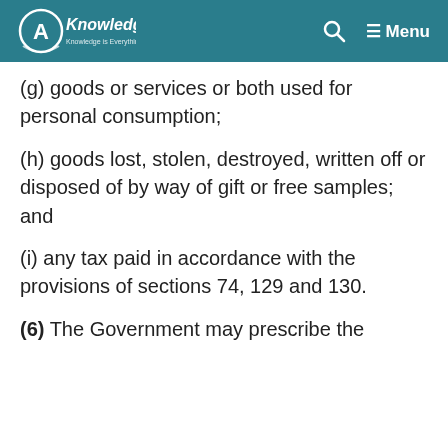AKnowledge.com — Menu
(g) goods or services or both used for personal consumption;
(h) goods lost, stolen, destroyed, written off or disposed of by way of gift or free samples; and
(i) any tax paid in accordance with the provisions of sections 74, 129 and 130.
(6) The Government may prescribe the